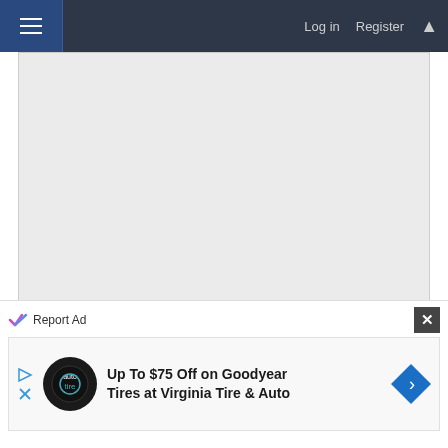Log in  Register
[Figure (other): Large light gray advertisement placeholder area]
Report Ad
Oct 15, 2019  #10
Report Ad
[Figure (other): Ad banner: Up To $75 Off on Goodyear Tires at Virginia Tire & Auto with tire auto logo and blue arrow button]